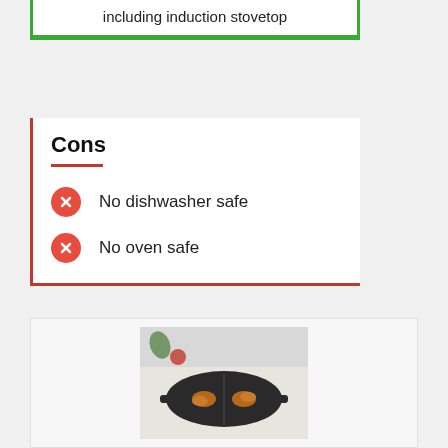including induction stovetop
Cons
No dishwasher safe
No oven safe
[Figure (photo): A black cast iron divided pan/skillet with food inside, viewed from above on a light surface with some vegetables nearby]